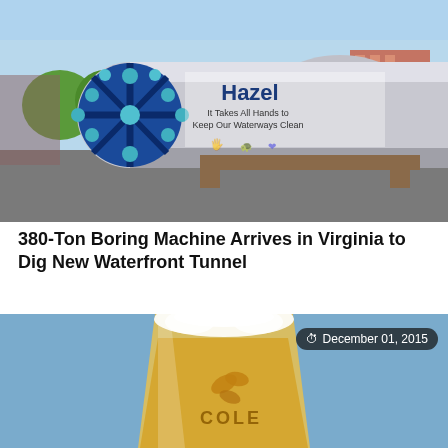[Figure (photo): A large blue tunnel boring machine named 'Hazel' with text 'It Takes All Hands to Keep Our Waterways Clean' on the cylindrical body, photographed outdoors on a sunny day with trees and a building in the background.]
380-Ton Boring Machine Arrives in Virginia to Dig New Waterfront Tunnel
[Figure (photo): Close-up photo of a glass of golden beer with a logo showing leaves and the text 'COLE' partially visible on the glass. The background is blurred blue.]
December 01, 2015